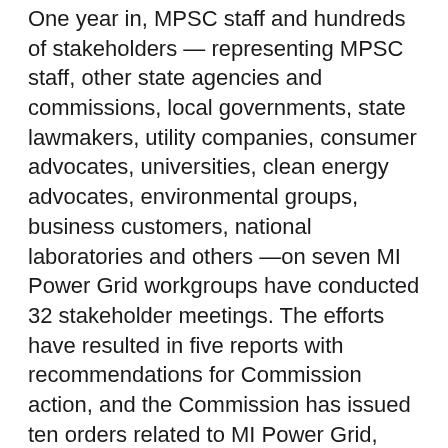One year in, MPSC staff and hundreds of stakeholders — representing MPSC staff, other state agencies and commissions, local governments, state lawmakers, utility companies, consumer advocates, universities, clean energy advocates, environmental groups, business customers, national laboratories and others —on seven MI Power Grid workgroups have conducted 32 stakeholder meetings. The efforts have resulted in five reports with recommendations for Commission action, and the Commission has issued ten orders related to MI Power Grid, with more expected by the end of 2020.
“The MPSC Staff and hundreds of stakeholders have been meeting regularly, through the pandemic, to make progress on ensuring Michigan has a modernized, adaptable regulatory environment that makes the best of the clean energy transition,” MPSC Chair Dan Scripps said. “I